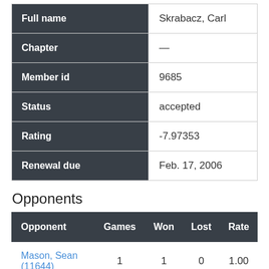| Field | Value |
| --- | --- |
| Full name | Skrabacz, Carl |
| Chapter | — |
| Member id | 9685 |
| Status | accepted |
| Rating | -7.97353 |
| Renewal due | Feb. 17, 2006 |
Opponents
| Opponent | Games | Won | Lost | Rate |
| --- | --- | --- | --- | --- |
| Mason, Sean (11644) | 1 | 1 | 0 | 1.00 |